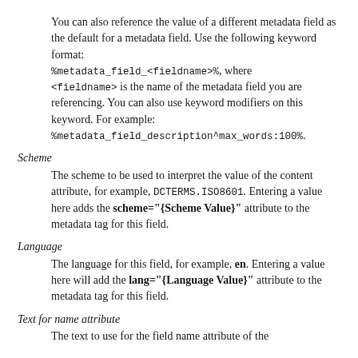You can also reference the value of a different metadata field as the default for a metadata field. Use the following keyword format: %metadata_field_<fieldname>%, where <fieldname> is the name of the metadata field you are referencing. You can also use keyword modifiers on this keyword. For example: %metadata_field_description^max_words:100%.
Scheme
The scheme to be used to interpret the value of the content attribute, for example, DCTERMS.ISO8601. Entering a value here adds the scheme="{Scheme Value}" attribute to the metadata tag for this field.
Language
The language for this field, for example, en. Entering a value here will add the lang="{Language Value}" attribute to the metadata tag for this field.
Text for name attribute
The text to use for the field name attribute of the